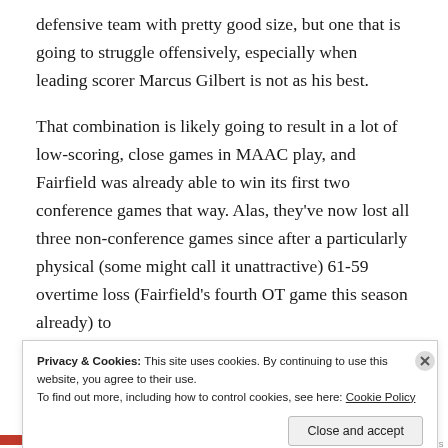defensive team with pretty good size, but one that is going to struggle offensively, especially when leading scorer Marcus Gilbert is not as his best.
That combination is likely going to result in a lot of low-scoring, close games in MAAC play, and Fairfield was already able to win its first two conference games that way. Alas, they've now lost all three non-conference games since after a particularly physical (some might call it unattractive) 61-59 overtime loss (Fairfield's fourth OT game this season already) to
Privacy & Cookies: This site uses cookies. By continuing to use this website, you agree to their use.
To find out more, including how to control cookies, see here: Cookie Policy
Close and accept